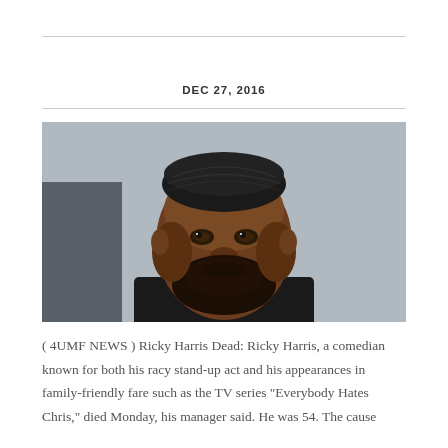DEC 27, 2016
[Figure (photo): Portrait photo of Ricky Harris, a man with a black knit kufi cap and beard, wearing a dark jacket, photographed outdoors with a blurred background.]
( 4UMF NEWS ) Ricky Harris Dead: Ricky Harris, a comedian known for both his racy stand-up act and his appearances in family-friendly fare such as the TV series “Everybody Hates Chris,” died Monday, his manager said. He was 54. The cause